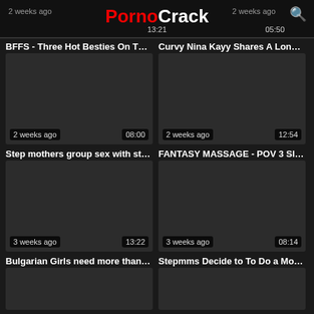PornoCrack | 2 weeks ago | 13:21 | 2 weeks ago | 05:50
BFFS - Three Hot Besties On The ...
Curvy Nina Kayy Shares A Long C...
[Figure (photo): Video thumbnail dark, 2 weeks ago, 08:00]
[Figure (photo): Video thumbnail dark, 2 weeks ago, 12:54]
Step mothers group sex with steps...
FANTASY MASSAGE - POV 3 Slutt...
[Figure (photo): Video thumbnail dark, 3 weeks ago, 13:22]
[Figure (photo): Video thumbnail dark, 3 weeks ago, 08:14]
Bulgarian Girls need more than 1 d...
Stepmms Decide to To Do a MomS...
[Figure (photo): Partial video thumbnail dark, bottom row left]
[Figure (photo): Partial video thumbnail dark, bottom row right]